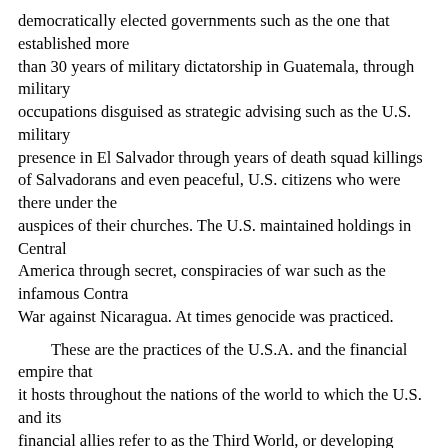democratically elected governments such as the one that established more than 30 years of military dictatorship in Guatemala, through military occupations disguised as strategic advising such as the U.S. military presence in El Salvador through years of death squad killings of Salvadorans and even peaceful, U.S. citizens who were there under the auspices of their churches. The U.S. maintained holdings in Central America through secret, conspiracies of war such as the infamous Contra War against Nicaragua. At times genocide was practiced.
These are the practices of the U.S.A. and the financial empire that it hosts throughout the nations of the world to which the U.S. and its financial allies refer to as the Third World, or developing sector.
At some point, after sustained treatment like that, somebody somewhere is bound to want revenge.
Rather than beef up our defenses and go on a military offensive,